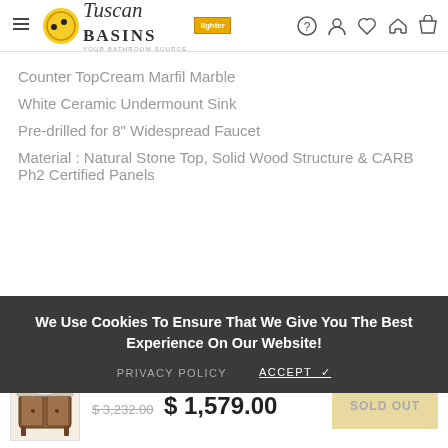Tuscan Basins — navigation header with logo and icons
Counter TopCream Marfil Marble
White Ceramic Undermount Sink
Pre-drilled for 8" Widespread Faucet
Material : Natural Stone Top, Solid Wood Structure & CARB Ph2 Certified Panels
We Use Cookies To Ensure That We Give You The Best Experience On Our Website!
PRIVACY POLICY   ACCEPT ✓
$ 3,232.00  $ 1,579.00
SOLD OUT